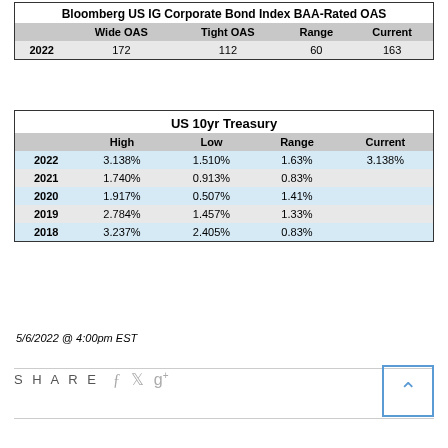| Bloomberg US IG Corporate Bond Index BAA-Rated OAS | Wide OAS | Tight OAS | Range | Current |
| --- | --- | --- | --- | --- |
| 2022 | 172 | 112 | 60 | 163 |
| US 10yr Treasury | High | Low | Range | Current |
| --- | --- | --- | --- | --- |
| 2022 | 3.138% | 1.510% | 1.63% | 3.138% |
| 2021 | 1.740% | 0.913% | 0.83% |  |
| 2020 | 1.917% | 0.507% | 1.41% |  |
| 2019 | 2.784% | 1.457% | 1.33% |  |
| 2018 | 3.237% | 2.405% | 0.83% |  |
5/6/2022 @ 4:00pm EST
SHARE